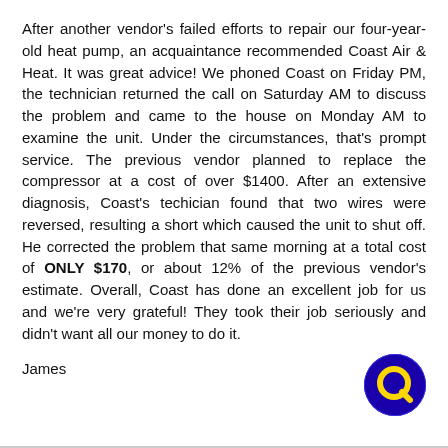After another vendor's failed efforts to repair our four-year-old heat pump, an acquaintance recommended Coast Air & Heat. It was great advice! We phoned Coast on Friday PM, the technician returned the call on Saturday AM to discuss the problem and came to the house on Monday AM to examine the unit. Under the circumstances, that's prompt service. The previous vendor planned to replace the compressor at a cost of over $1400. After an extensive diagnosis, Coast's techician found that two wires were reversed, resulting a short which caused the unit to shut off. He corrected the problem that same morning at a total cost of ONLY $170, or about 12% of the previous vendor's estimate. Overall, Coast has done an excellent job for us and we're very grateful! They took their job seriously and didn't want all our money to do it.
James
[Figure (logo): Quora-style logo: blue circle with yellow Q letter icon]